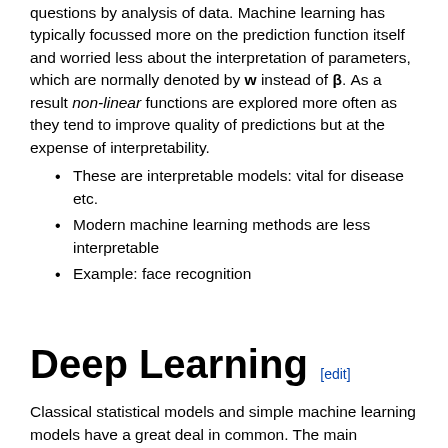questions by analysis of data. Machine learning has typically focussed more on the prediction function itself and worried less about the interpretation of parameters, which are normally denoted by w instead of β. As a result non-linear functions are explored more often as they tend to improve quality of predictions but at the expense of interpretability.
These are interpretable models: vital for disease etc.
Modern machine learning methods are less interpretable
Example: face recognition
Deep Learning [edit]
Classical statistical models and simple machine learning models have a great deal in common. The main difference between the fields is philosophical. Machine learning